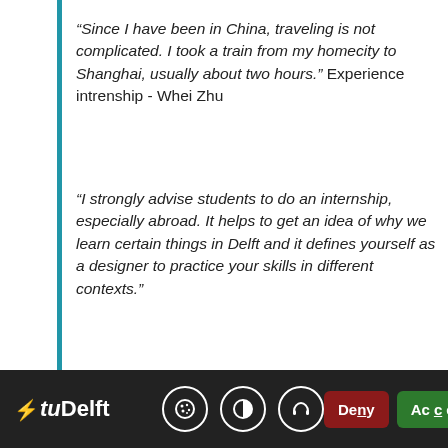“Since I have been in China, traveling is not complicated. I took a train from my homecity to Shanghai, usually about two hours.” Experience intrenship - Whei Zhu
“I strongly advise students to do an internship, especially abroad. It helps to get an idea of why we learn certain things in Delft and it defines yourself as a designer to practice your skills in different contexts.”
“For me, this internship was a great experience, it was nice to be out of the University’s life for a while and see that quite some methods and skills from the education showed to be valuable”
“Doing an internship really made me think about my soft skills. I learned a lot about how it is to be an
This website uses cookies. By clicking “accept” you give your permission to this website to use cookies. What are cookies
TUDelft | Deny | Accept